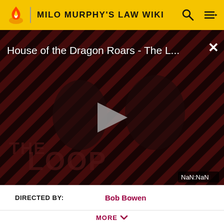MILO MURPHY'S LAW WIKI
[Figure (screenshot): Video player thumbnail showing 'House of the Dragon Roars - The L...' with a play button in center, two people in dark background with diagonal red and black stripes, 'THE LOOP' text at bottom left, and NaN:NaN timer at bottom right.]
| DIRECTED BY: | Bob Bowen |
| --- | --- |
MORE